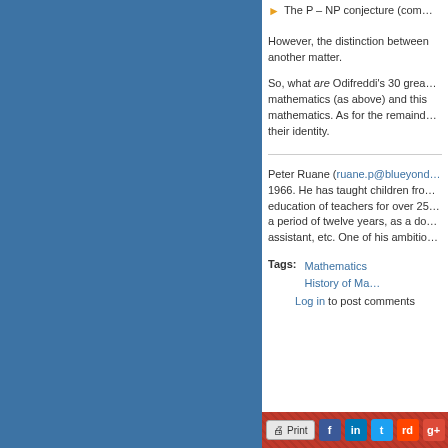The P – NP conjecture (com…
However, the distinction between… another matter.
So, what are Odifreddi's 30 grea… mathematics (as above) and this… mathematics. As for the remaind… their identity.
Peter Ruane (ruane.p@blueyond… 1966. He has taught children fro… education of teachers for over 25… a period of twelve years, as a do… assistant, etc. One of his ambitio…
Tags:
Mathematics
History of Ma…
Log in to post comments